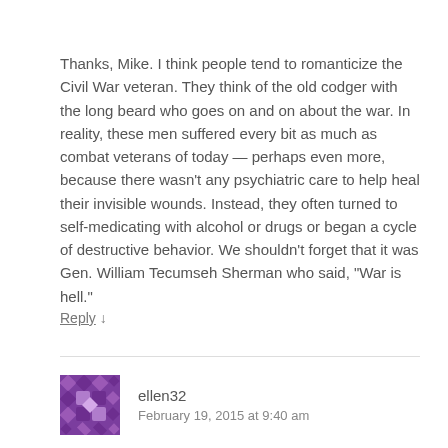Thanks, Mike. I think people tend to romanticize the Civil War veteran. They think of the old codger with the long beard who goes on and on about the war. In reality, these men suffered every bit as much as combat veterans of today — perhaps even more, because there wasn't any psychiatric care to help heal their invisible wounds. Instead, they often turned to self-medicating with alcohol or drugs or began a cycle of destructive behavior. We shouldn't forget that it was Gen. William Tecumseh Sherman who said, “War is hell.”
Reply ↓
ellen32
February 19, 2015 at 9:40 am